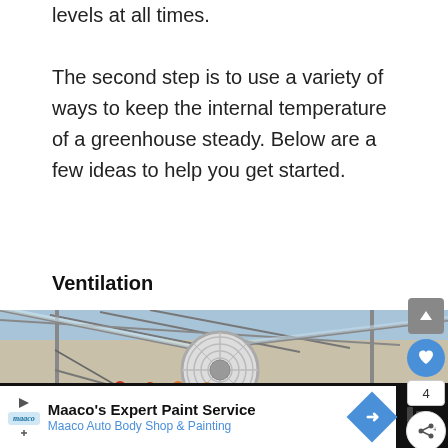levels at all times.

The second step is to use a variety of ways to keep the internal temperature of a greenhouse steady. Below are a few ideas to help you get started.
Ventilation
[Figure (photo): Interior of a greenhouse with a large circular fan mounted overhead, with rows of colorful flowers (marigolds, red flowers) on benches below. Metal framework and glass/polycarbonate panels visible. There is a 'What's Next' overlay showing a thumbnail and text 'How to Grow a Winter...' with social media like and share buttons on the right side.]
Maaco's Expert Paint Service
Maaco Auto Body Shop & Painting